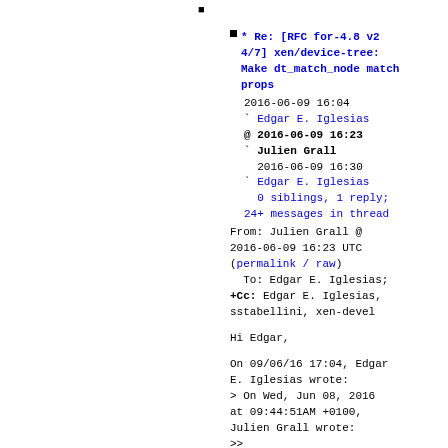* Re: [RFC for-4.8 v2 4/7] xen/device-tree: Make dt_match_node match props
2016-06-09 16:04
` Edgar E. Iglesias
@ 2016-06-09 16:23
` Julien Grall
2016-06-09 16:30
` Edgar E. Iglesias
0 siblings, 1 reply;
24+ messages in thread
From: Julien Grall @ 2016-06-09 16:23 UTC (permalink / raw)
  To: Edgar E. Iglesias;
+Cc: Edgar E. Iglesias, sstabellini, xen-devel
Hi Edgar,
On 09/06/16 17:04, Edgar E. Iglesias wrote:
> On Wed, Jun 08, 2016 at 09:44:51AM +0100, Julien Grall wrote:
>>
>> On 07/06/2016 21:43, Edgar E. Iglesias wrote: